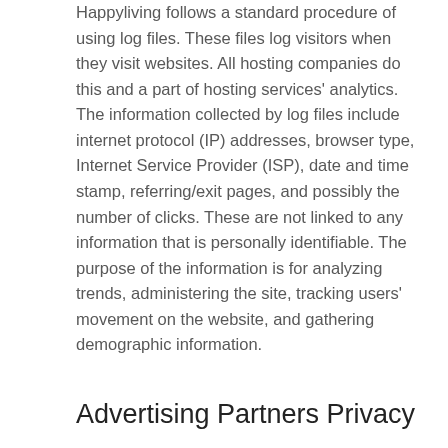Happyliving follows a standard procedure of using log files. These files log visitors when they visit websites. All hosting companies do this and a part of hosting services' analytics. The information collected by log files include internet protocol (IP) addresses, browser type, Internet Service Provider (ISP), date and time stamp, referring/exit pages, and possibly the number of clicks. These are not linked to any information that is personally identifiable. The purpose of the information is for analyzing trends, administering the site, tracking users' movement on the website, and gathering demographic information.
Advertising Partners Privacy